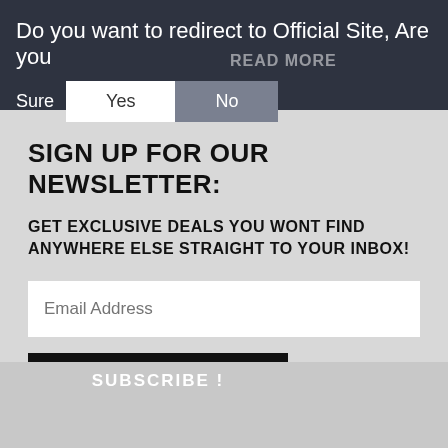Do you want to redirect to Official Site, Are you Sure
Yes   No
READ MORE
SIGN UP FOR OUR NEWSLETTER:
GET EXCLUSIVE DEALS YOU WONT FIND ANYWHERE ELSE STRAIGHT TO YOUR INBOX!
Email Address
SUBSCRIBE !